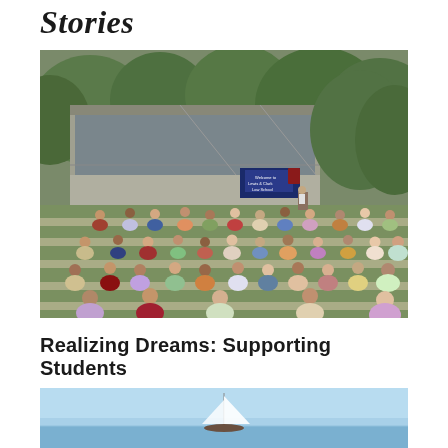Stories
[Figure (photo): Outdoor orientation or welcome event at Lewis & Clark Law School. Students sit socially distanced on a grassy lawn in rows, facing a speaker at a podium near a banner reading 'Welcome to Lewis & Clark Law School'. A modern concrete and glass building is visible in the background, surrounded by trees.]
Realizing Dreams: Supporting Students
[Figure (photo): Partial view of a sailboat on blue water with a clear sky, partially cropped at the bottom of the page.]